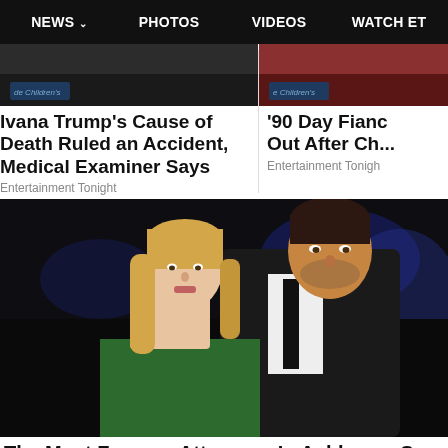NEWS  PHOTOS  VIDEOS  WATCH ET
[Figure (screenshot): Thumbnail image for Ivana Trump article - dark background with children's hospital logo visible]
Ivana Trump's Cause of Death Ruled an Accident, Medical Examiner Says
Entertainment Tonight
[Figure (screenshot): Thumbnail image for 90 Day Fiance article - reddish dark background with children's hospital logo]
'90 Day Fianc... Out After Ch...
Entertainment Tonight
[Figure (photo): A blonde woman in a green dress and a dark-haired man in a dark suit with black tie, posed together at what appears to be an event with dark background and blue lighting]
The Most Famous Attorneys In Ashburn - See...